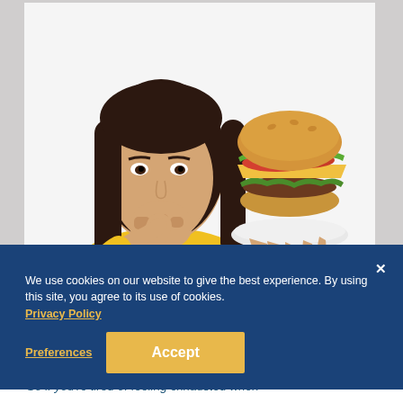[Figure (photo): Young woman with dark hair wearing a yellow top, resting chin on fist with a skeptical expression, next to a large hamburger she is holding on a plate, on a white background.]
Because I've personally helped thousands of people JUST like you virtually ERASE occasional emotional eating from their lives so they can finally feel ALIVE... ENERGETIC... and SEXY again... So if you're tired of feeling exhausted when...
We use cookies on our website to give the best experience. By using this site, you agree to its use of cookies.
Privacy Policy
Preferences
Accept